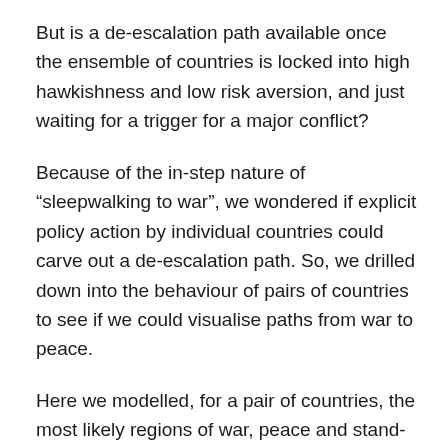But is a de-escalation path available once the ensemble of countries is locked into high hawkishness and low risk aversion, and just waiting for a trigger for a major conflict?
Because of the in-step nature of “sleepwalking to war”, we wondered if explicit policy action by individual countries could carve out a de-escalation path. So, we drilled down into the behaviour of pairs of countries to see if we could visualise paths from war to peace.
Here we modelled, for a pair of countries, the most likely regions of war, peace and stand-off in their interactions for different degrees of hawkishness for each. We added the idea of a stand-off to our model to account for the “not-peace, not-war” phenomenon observed, for example, during the Cold War.